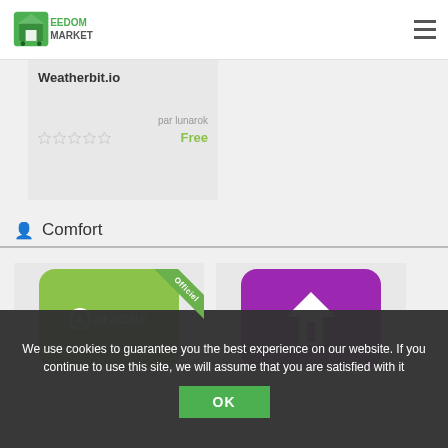EEDOM MARKET
Weatherbit.io
par lunarok
Free
Comfort
[Figure (screenshot): Airzone app icon - green rounded square with AIRZONE text and Officiel ribbon badge]
[Figure (screenshot): Purple app icon with white house/upload arrow graphic]
We use cookies to guarantee you the best experience on our website. If you continue to use this site, we will assume that you are satisfied with it
OK